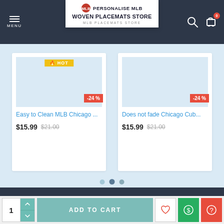PERSONALISE MLB WOVEN PLACEMATS STORE — MLB PLACEMATS STORE
[Figure (screenshot): Product card: Easy to Clean MLB Chicago ... priced at $15.99 (was $21.00), -24% discount badge]
[Figure (screenshot): Product card: Does not fade Chicago Cub... priced at $15.99 (was $21.00), -24% discount badge]
RECENTLY VIEWED   MOST VIEWED
[Figure (photo): Chicago Cubs placemat product image showing CHICAGO CUBS logo on a blue placemat with fork and knife]
ADD TO CART